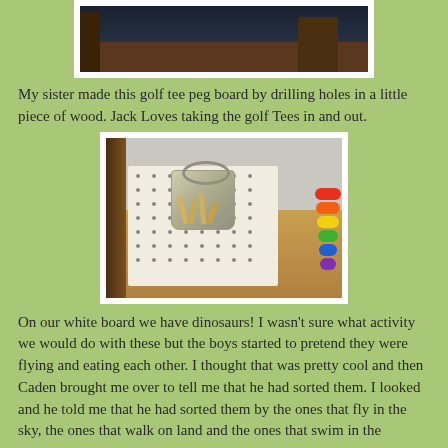[Figure (photo): Top portion of a photo showing furniture/table against a dark background, partially cropped]
My sister made this golf tee peg board by drilling holes in a little piece of wood. Jack Loves taking the golf Tees in and out.
[Figure (photo): Photo of a white pegboard with dotted holes and a small metal bucket filled with wooden golf tees, sitting on a wooden table. A colorful ring toy is visible on the right.]
On our white board we have dinosaurs! I wasn't sure what activity we would do with these but the boys started to pretend they were flying and eating each other. I thought that was pretty cool and then Caden brought me over to tell me that he had sorted them. I looked and he told me that he had sorted them by the ones that fly in the sky, the ones that walk on land and the ones that swim in the